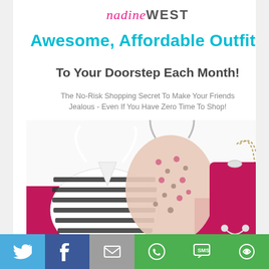nadineWEST
Awesome, Affordable Outfits To Your Doorstep Each Month!
The No-Risk Shopping Secret To Make Your Friends Jealous - Even If You Have Zero Time To Shop!
[Figure (photo): Clothing items displayed on a white background including a striped shirt, a floral dress, and a pink handbag with chain strap, with magenta accent elements]
[Figure (infographic): Social sharing bar with Twitter, Facebook, Email, WhatsApp, SMS, and share icons on colored backgrounds (blue, dark blue, gray, green)]